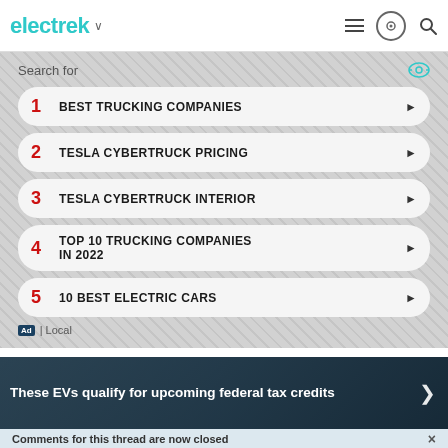electrek
Search for
1 BEST TRUCKING COMPANIES
2 TESLA CYBERTRUCK PRICING
3 TESLA CYBERTRUCK INTERIOR
4 TOP 10 TRUCKING COMPANIES IN 2022
5 10 BEST ELECTRIC CARS
Ad | Local
[Figure (photo): Hero banner image showing hands holding money/documents with dark blue overlay and text: These EVs qualify for upcoming federal tax credits]
These EVs qualify for upcoming federal tax credits
Comments for this thread are now closed